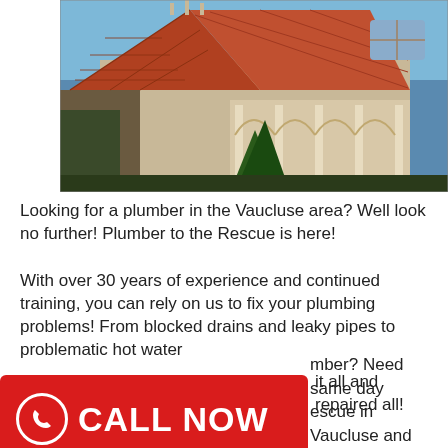[Figure (photo): Photograph of an old Victorian-style house with red terracotta roof tiles, ornate stone facade, Gothic arched porch columns, and surrounding garden vegetation under a blue sky.]
Looking for a plumber in the Vaucluse area? Well look no further! Plumber to the Rescue is here!
With over 30 years of experience and continued training, you can rely on us to fix your plumbing problems! From blocked drains and leaky pipes to problematic hot water ... it all and repaired all!
[Figure (infographic): Red rectangular call-to-action button with a white phone icon in a circle and white bold text reading CALL NOW]
...mber? Need same day ...rescue in Vaucluse and ...ll b... with...